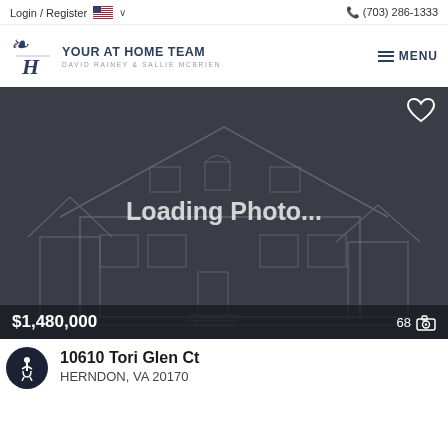Login / Register  (703) 286-1333
[Figure (logo): Your At Home Team logo - David Rainey & Sallie McBrien with MENU button]
[Figure (photo): Loading Photo... placeholder with house outline graphic, price $1,480,000, 68 photos indicator]
10610 Tori Glen Ct
HERNDON, VA 20170